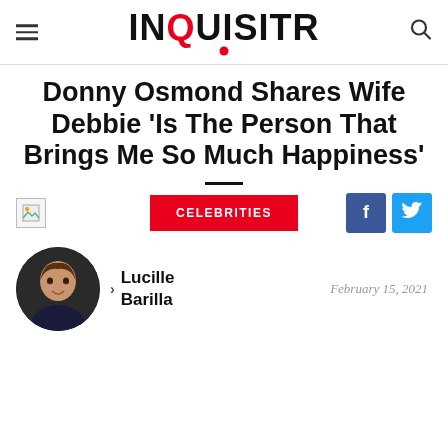INQUISITR
Donny Osmond Shares Wife Debbie 'Is The Person That Brings Me So Much Happiness'
CELEBRITIES
[Figure (photo): Author headshot of Lucille Barilla]
Lucille Barilla
February 15, 2021